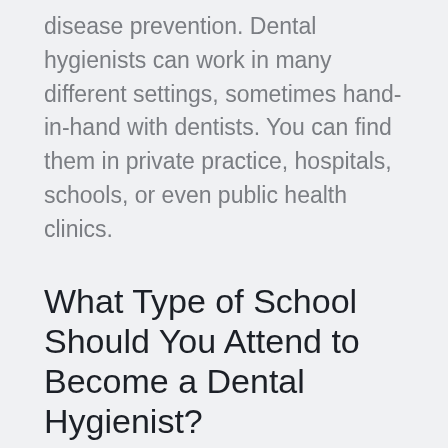disease prevention. Dental hygienists can work in many different settings, sometimes hand-in-hand with dentists. You can find them in private practice, hospitals, schools, or even public health clinics.
What Type of School Should You Attend to Become a Dental Hygienist?
You can become a dental hygienist from many different academic programs. You can enroll at a community college, trade school, or